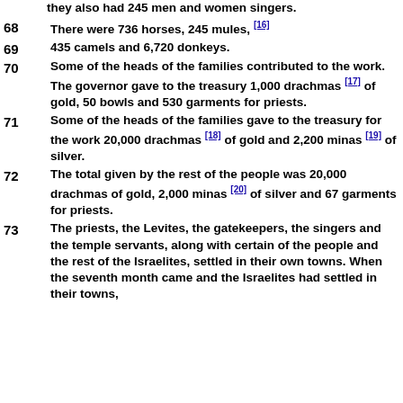they also had 245 men and women singers.
68 There were 736 horses, 245 mules, [16]
69 435 camels and 6,720 donkeys.
70 Some of the heads of the families contributed to the work. The governor gave to the treasury 1,000 drachmas [17] of gold, 50 bowls and 530 garments for priests.
71 Some of the heads of the families gave to the treasury for the work 20,000 drachmas [18] of gold and 2,200 minas [19] of silver.
72 The total given by the rest of the people was 20,000 drachmas of gold, 2,000 minas [20] of silver and 67 garments for priests.
73 The priests, the Levites, the gatekeepers, the singers and the temple servants, along with certain of the people and the rest of the Israelites, settled in their own towns. When the seventh month came and the Israelites had settled in their towns,